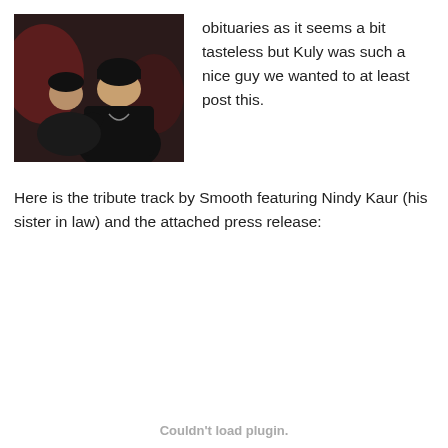[Figure (photo): Two people posing together in a dark indoor setting. One person wearing a black hoodie and turban, another person leaning in close, both smiling.]
obituaries as it seems a bit tasteless but Kuly was such a nice guy we wanted to at least post this.
Here is the tribute track by Smooth featuring Nindy Kaur (his sister in law) and the attached press release:
Couldn't load plugin.